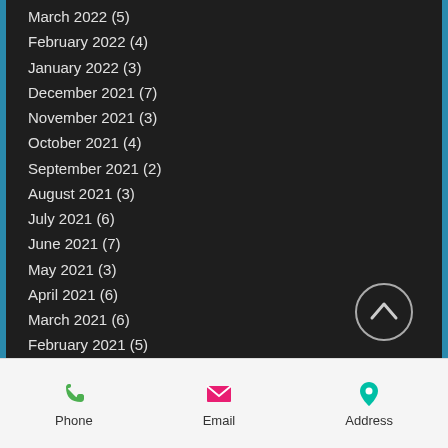March 2022 (5)
February 2022 (4)
January 2022 (3)
December 2021 (7)
November 2021 (3)
October 2021 (4)
September 2021 (2)
August 2021 (3)
July 2021 (6)
June 2021 (7)
May 2021 (3)
April 2021 (6)
March 2021 (6)
February 2021 (5)
January 2021 (11)
December 2020 (8)
November 2020 (3)
October 2020 (3)
September 2020 (4)
August 2020 (10)
Phone  Email  Address